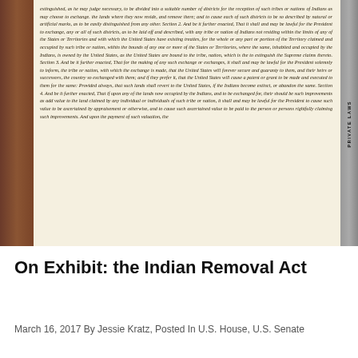[Figure (photo): Photograph of an open historical ledger book showing handwritten text of the Indian Removal Act private laws, with a dark red leather binding on the left and gray binding on the right with 'PRIVATE LAWS' text running vertically.]
On Exhibit: the Indian Removal Act
March 16, 2017 By Jessie Kratz, Posted In U.S. House, U.S. Senate